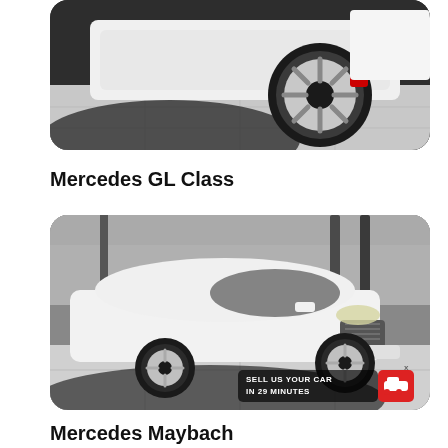[Figure (photo): Photo of a white luxury car wheel and lower body on a showroom floor with dark tile accents]
Mercedes GL Class
[Figure (photo): Photo of a white Mercedes Maybach/S-Class luxury sedan parked in an indoor showroom with tall dark columns. An overlay banner reads 'SELL US YOUR CAR IN 29 MINUTES' with a red car icon button with an X close button.]
Mercedes Maybach